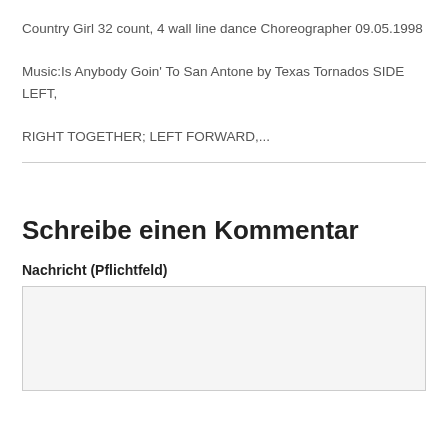Country Girl 32 count, 4 wall line dance Choreographer 09.05.1998
Music:Is Anybody Goin' To San Antone by Texas Tornados SIDE LEFT, RIGHT TOGETHER; LEFT FORWARD,...
Schreibe einen Kommentar
Nachricht (Pflichtfeld)